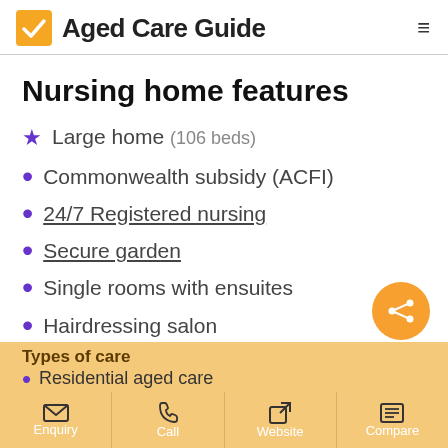Aged Care Guide
Nursing home features
Large home (106 beds)
Commonwealth subsidy (ACFI)
24/7 Registered nursing
Secure garden
Single rooms with ensuites
Hairdressing salon
Types of care
Residential aged care
Enquiry | Call | Website | Compare